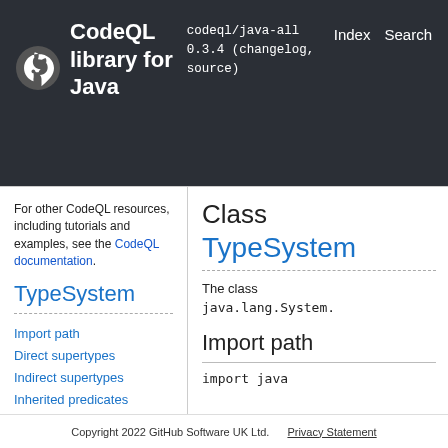CodeQL library for Java  codeql/java-all 0.3.4 (changelog, source)  Index  Search
For other CodeQL resources, including tutorials and examples, see the CodeQL documentation.
TypeSystem
Import path
Direct supertypes
Indirect supertypes
Inherited predicates
Charpred
Module JDK
Class
TypeSystem
The class java.lang.System.
Import path
import java
Copyright 2022 GitHub Software UK Ltd.    Privacy Statement